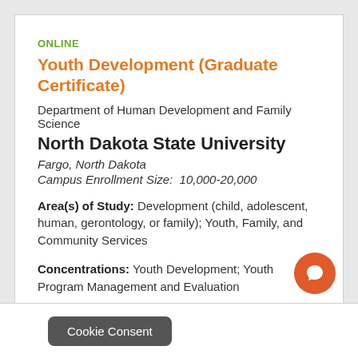ONLINE
Youth Development (Graduate Certificate)
Department of Human Development and Family Science
North Dakota State University
Fargo, North Dakota
Campus Enrollment Size:  10,000-20,000
Area(s) of Study:  Development (child, adolescent, human, gerontology, or family); Youth, Family, and Community Services
Concentrations:  Youth Development; Youth Program Management and Evaluation
Cookie Consent